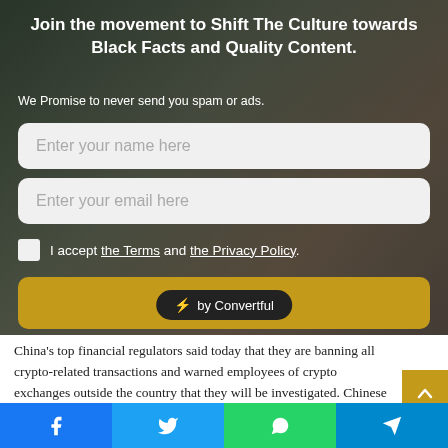Join the movement to Shift The Culture towards Black Facts and Quality Content.
We Promise to never send you spam or ads.
Enter your name here
Enter your email here
I accept the Terms and the Privacy Policy.
Subscribe
[Figure (logo): Convertful badge with lightning bolt icon]
China's top financial regulators said today that they are banning all crypto-related transactions and warned employees of crypto exchanges outside the country that they will be investigated. Chinese regulators also called for increased censorship on crypto information providers,
[Figure (infographic): Social share bar with Facebook, Twitter, WhatsApp, and Telegram icons]